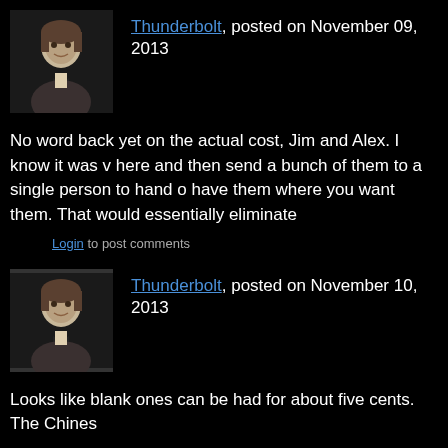Thunderbolt, posted on November 09, 2013
[Figure (photo): Portrait avatar photo of a man in Victorian-era clothing]
No word back yet on the actual cost, Jim and Alex. I know it was v... here and then send a bunch of them to a single person to hand o... have them where you want them. That would essentially eliminate...
Login to post comments
Thunderbolt, posted on November 10, 2013
[Figure (photo): Portrait avatar photo of a man in Victorian-era clothing]
Looks like blank ones can be had for about five cents. The Chines...
Login to post comments
Glock27, posted on November 11, 2013
[Figure (photo): Small photo avatar, appears to be a building or architectural image]